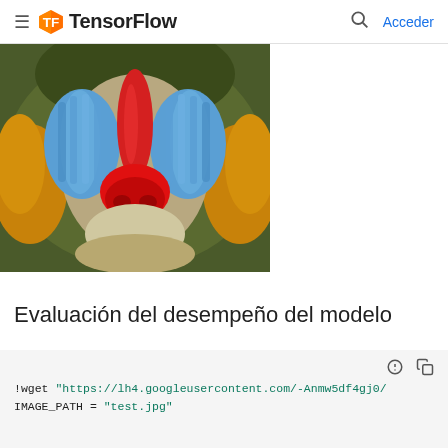≡ TensorFlow  🔍  Acceder
[Figure (photo): Close-up photograph of a mandrill's face showing colorful blue and red facial features with fur surrounding it]
Evaluación del desempeño del modelo
!wget "https://lh4.googleusercontent.com/-Anmw5df4gj0/
IMAGE_PATH = "test.jpg"